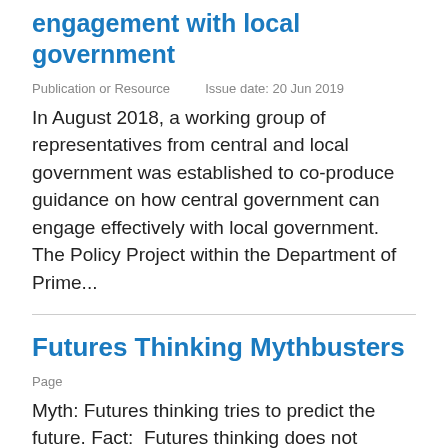engagement with local government
Publication or Resource    Issue date: 20 Jun 2019
In August 2018, a working group of representatives from central and local government was established to co-produce guidance on how central government can engage effectively with local government. The Policy Project within the Department of Prime...
Futures Thinking Mythbusters
Page
Myth: Futures thinking tries to predict the future. Fact:  Futures thinking does not attempt to predict the future. There are a range of possible futures and the future can be actively shaped by the decisions we take today. Futures...